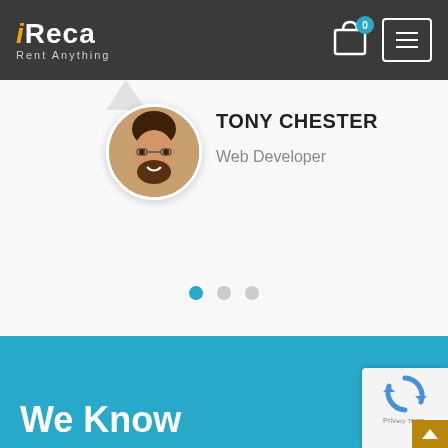[Figure (logo): iReca logo with 'Rent Anything' tagline on dark header bar]
[Figure (illustration): Shopping cart icon with badge showing 0 and hamburger menu button in header]
[Figure (photo): Circular profile photo of Tony Chester, a young man with beard and glasses]
TONY CHESTER
Web Developer
[Figure (infographic): Three dot pagination indicators: first dot active (blue), second and third inactive (gray)]
We Know
[Figure (other): reCAPTCHA badge with recycling arrow icon and Privacy Terms text, with gold scroll-to-top button]